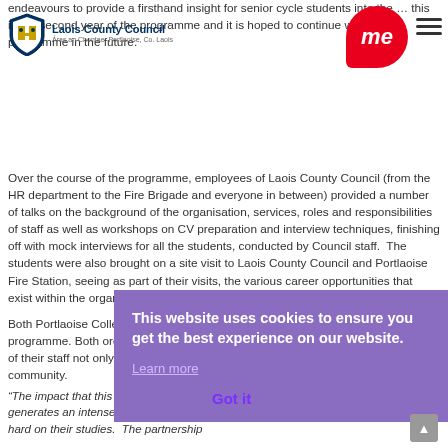Laois County Council — Aras an Chontae, Portlaoise, Co. Laois
endeavours to provide a firsthand insight for senior cycle students into the … this is the second year of the programme and it is hoped to continue with the programme in the future.
Over the course of the programme, employees of Laois County Council (from the HR department to the Fire Brigade and everyone in between) provided a number of talks on the background of the organisation, services, roles and responsibilities of staff as well as workshops on CV preparation and interview techniques, finishing off with mock interviews for all the students, conducted by Council staff. The students were also brought on a site visit to Laois County Council and Portlaoise Fire Station, seeing as part of their visits, the various career opportunities that exist within the organisation.
Both Portlaoise College and Laois County Council are incredible supporters of this programme. Both organisations are committed. The commitment and engagement of their staff not only benefits the students, but has lasting impacts on the local community.
“The impact that this initiative has had on the students of Laois aside from day one, it generates an intense motivation for the students to succeed and to continue to work hard on their studies. The partnership